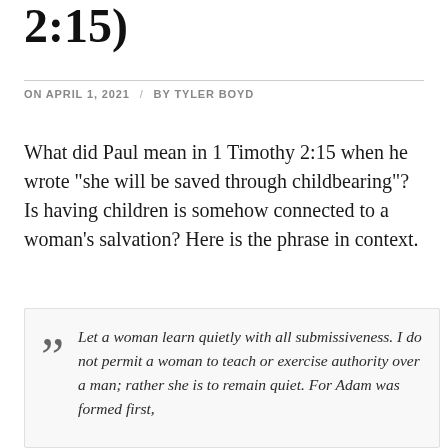2:15)
ON APRIL 1, 2021 / BY TYLER BOYD
What did Paul mean in 1 Timothy 2:15 when he wrote “she will be saved through childbearing”? Is having children is somehow connected to a woman’s salvation? Here is the phrase in context.
““ Let a woman learn quietly with all submissiveness. I do not permit a woman to teach or exercise authority over a man; rather she is to remain quiet. For Adam was formed first,